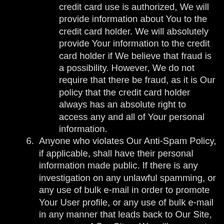credit card use is authorized, We will provide information about You to the credit card holder. We will absolutely provide Your information to the credit card holder if We believe that fraud is a possibility. However, We do not require that there be fraud, as it is Our policy that the credit card holder always has an absolute right to access any and all of Your personal information.
6. Anyone who violates Our Anti-Spam Policy, if applicable, shall have their personal information made public. If there is any investigation on any unlawful spamming, or any use of bulk e-mail in order to promote Your User profile, or any use of bulk e-mail in any manner that leads back to Our Site, or any one of Our Sites, We will cooperate with any and all parties completely and freely in order to see that Your bulk e-mail activities